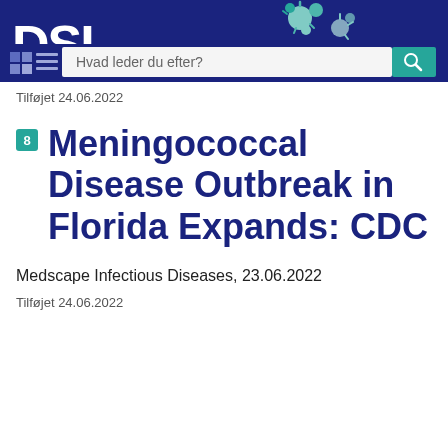[Figure (logo): DSI website logo and navigation header bar with search field reading 'Hvad leder du efter?' and a teal search button]
Tilføjet 24.06.2022
Meningococcal Disease Outbreak in Florida Expands: CDC
Medscape Infectious Diseases, 23.06.2022
Tilføjet 24.06.2022